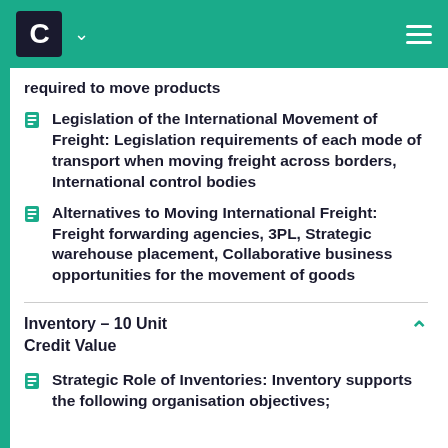C
required to move products
Legislation of the International Movement of Freight: Legislation requirements of each mode of transport when moving freight across borders, International control bodies
Alternatives to Moving International Freight: Freight forwarding agencies, 3PL, Strategic warehouse placement, Collaborative business opportunities for the movement of goods
Inventory – 10 Unit Credit Value
Strategic Role of Inventories: Inventory supports the following organisation objectives;